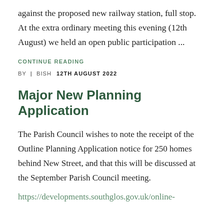against the proposed new railway station, full stop. At the extra ordinary meeting this evening (12th August) we held an open public participation ...
CONTINUE READING
BY | BISH   12TH AUGUST 2022
Major New Planning Application
The Parish Council wishes to note the receipt of the Outline Planning Application notice for 250 homes behind New Street, and that this will be discussed at the September Parish Council meeting.
https://developments.southglos.gov.uk/online-